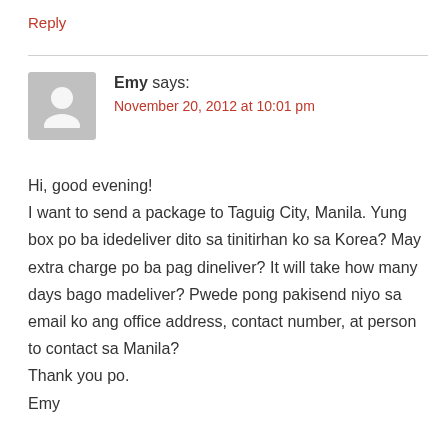Reply
Emy says:
November 20, 2012 at 10:01 pm
Hi, good evening!
I want to send a package to Taguig City, Manila. Yung box po ba idedeliver dito sa tinitirhan ko sa Korea? May extra charge po ba pag dineliver? It will take how many days bago madeliver? Pwede pong pakisend niyo sa email ko ang office address, contact number, at person to contact sa Manila?
Thank you po.
Emy